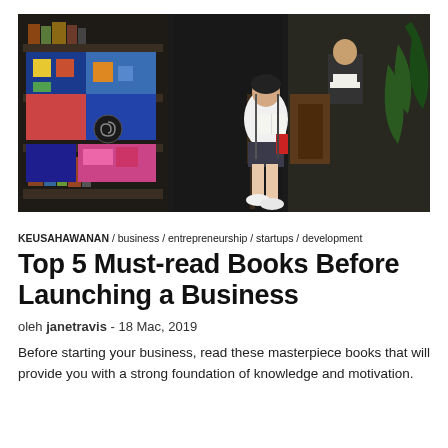[Figure (photo): A young woman sits on a chair reading a book at an outdoor bookshop, surrounded by shelves with books and colorful quilts hanging, with plants and another person visible in the background.]
KEUSAHAWANAN / business / entrepreneurship / startups / development
Top 5 Must-read Books Before Launching a Business
oleh janetravis - 18 Mac, 2019
Before starting your business, read these masterpiece books that will provide you with a strong foundation of knowledge and motivation.